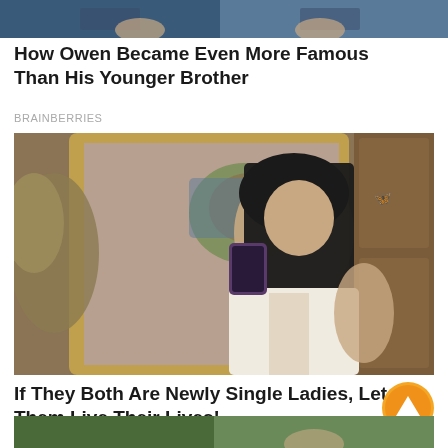[Figure (photo): Partial photo at top of page showing two people, cropped]
How Owen Became Even More Famous Than His Younger Brother
BRAINBERRIES
[Figure (photo): Woman taking a mirror selfie wearing a white corset top, with decorative gold mirror frame and painted background]
If They Both Are Newly Single Ladies, Let Them Live Their Lives!
HERBEAUTY
[Figure (photo): Partial photo at bottom of page, cropped]